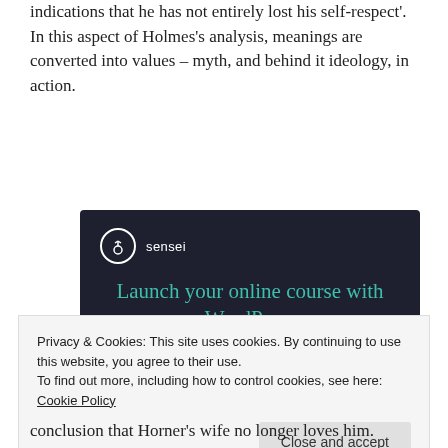indications that he has not entirely lost his self-respect'. In this aspect of Holmes's analysis, meanings are converted into values – myth, and behind it ideology, in action.
[Figure (infographic): Sensei advertisement: dark navy background with Sensei logo (tree icon in white circle), teal headline text 'Launch your online course with WordPress', and a teal 'Learn More' button.]
Privacy & Cookies: This site uses cookies. By continuing to use this website, you agree to their use.
To find out more, including how to control cookies, see here: Cookie Policy
Close and accept
conclusion that Horner's wife no longer loves him.